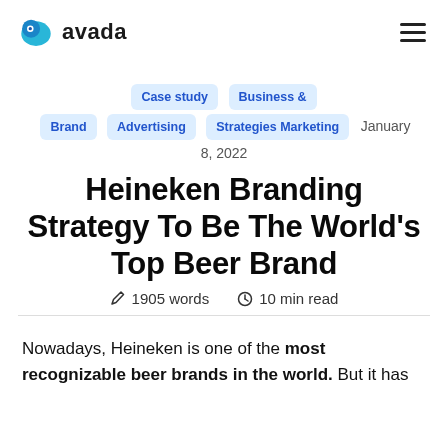avada
Case study  Business &  Brand  Advertising  Strategies Marketing  January 8, 2022
Heineken Branding Strategy To Be The World's Top Beer Brand
1905 words   10 min read
Nowadays, Heineken is one of the most recognizable beer brands in the world. But it has